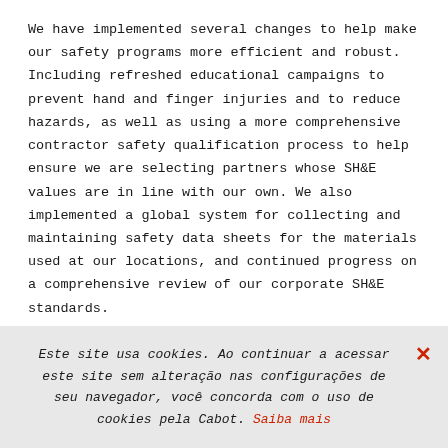We have implemented several changes to help make our safety programs more efficient and robust. Including refreshed educational campaigns to prevent hand and finger injuries and to reduce hazards, as well as using a more comprehensive contractor safety qualification process to help ensure we are selecting partners whose SH&E values are in line with our own. We also implemented a global system for collecting and maintaining safety data sheets for the materials used at our locations, and continued progress on a comprehensive review of our corporate SH&E standards.
Este site usa cookies. Ao continuar a acessar este site sem alteração nas configurações de seu navegador, você concorda com o uso de cookies pela Cabot. Saiba mais